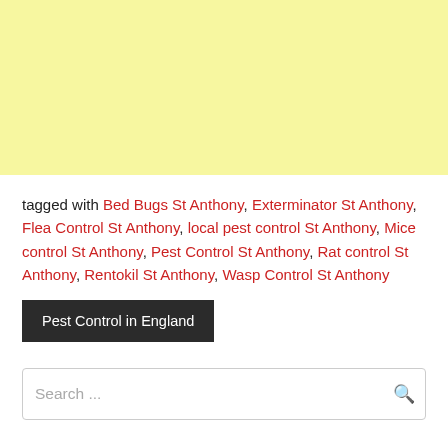[Figure (other): Yellow/light yellow banner area at top of page]
tagged with Bed Bugs St Anthony, Exterminator St Anthony, Flea Control St Anthony, local pest control St Anthony, Mice control St Anthony, Pest Control St Anthony, Rat control St Anthony, Rentokil St Anthony, Wasp Control St Anthony
Pest Control in England
Search ...